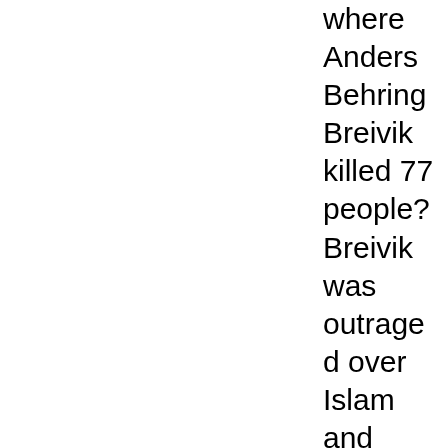where Anders Behring Breivik killed 77 people? Breivik was outraged over Islam and immigration. Before the attack, he had participated for years in